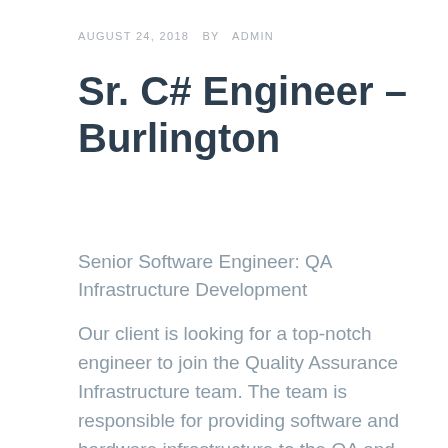AUGUST 24, 2018  BY  ADMIN
Sr. C# Engineer – Burlington
Senior Software Engineer: QA Infrastructure Development
Our client is looking for a top-notch engineer to join the Quality Assurance Infrastructure team. The team is responsible for providing software and hardware infrastructure to the QA and Automation communities in the Research and Development group. In addition, the team provides services for planning and executing